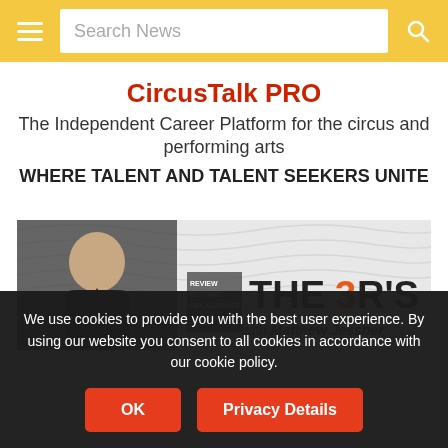Search News
CircusTalk PRO
The Independent Career Platform for the circus and performing arts
WHERE TALENT AND TALENT SEEKERS UNITE
[Figure (photo): Promotional image for 'The 3 R's with Matthew Jessner' show, featuring a man in a dark hoodie against a wavy white background, with bold text overlay reading 'THE 3 R'S with Matthew Jessner' and 'EXCLUSIVELY ON']
We use cookies to provide you with the best user experience. By using our website you consent to all cookies in accordance with our cookie policy.
OK | Privacy Details